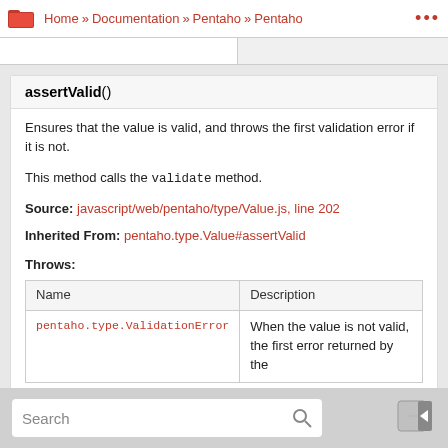Home » Documentation » Pentaho » Pentaho ...
assertValid()
Ensures that the value is valid, and throws the first validation error if it is not.
This method calls the validate method.
Source: javascript/web/pentaho/type/Value.js, line 202
Inherited From: pentaho.type.Value#assertValid
Throws:
| Name | Description |
| --- | --- |
| pentaho.type.ValidationError | When the value is not valid, the first error returned by the |
Search